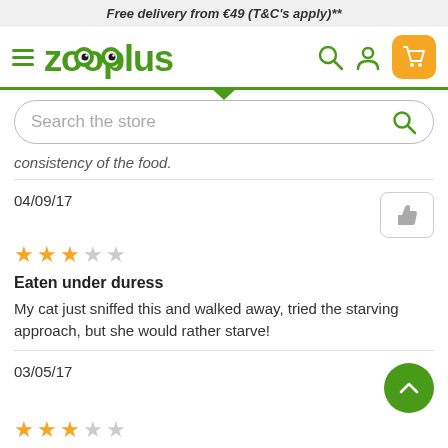Free delivery from €49 (T&C's apply)**
[Figure (screenshot): Zooplus website navigation bar with hamburger menu, logo, search icon, user icon, and orange cart button]
[Figure (screenshot): Search the store input box with search icon]
consistency of the food.
04/09/17
★★★☆☆ (3 out of 5 stars)
Eaten under duress
My cat just sniffed this and walked away, tried the starving approach, but she would rather starve!
03/05/17
★★★☆☆ (3 out of 5 stars)
Not an ideal result
Feringa is one of six wet foods purchased from Zooplus for Caesar